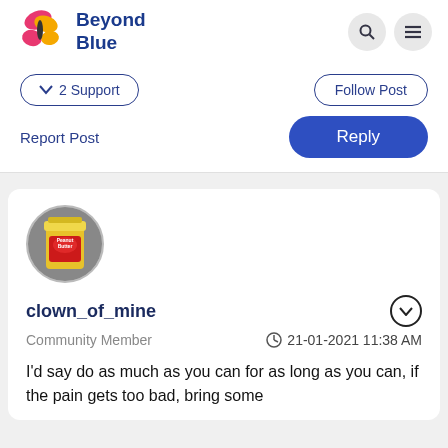Beyond Blue
2 Support
Follow Post
Report Post
Reply
[Figure (photo): Avatar photo of a peanut butter jar used as profile picture for user clown_of_mine]
clown_of_mine
Community Member
21-01-2021 11:38 AM
I'd say do as much as you can for as long as you can, if the pain gets too bad, bring some